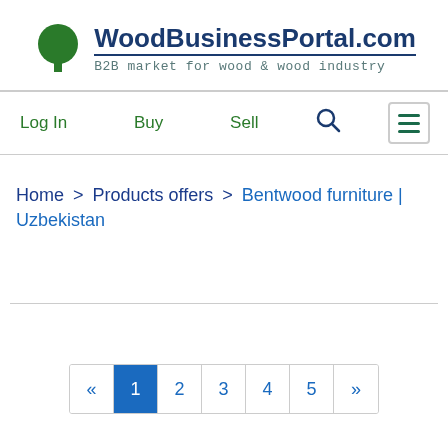WoodBusinessPortal.com — B2B market for wood & wood industry
Log In   Buy   Sell   🔍   ☰
Home > Products offers > Bentwood furniture | Uzbekistan
« 1 2 3 4 5 »